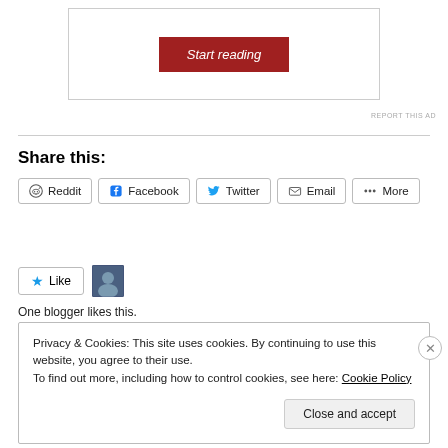[Figure (other): Ad box with red 'Start reading' button]
REPORT THIS AD
Share this:
Reddit  Facebook  Twitter  Email  More
Like  [avatar image]
One blogger likes this.
Privacy & Cookies: This site uses cookies. By continuing to use this website, you agree to their use.
To find out more, including how to control cookies, see here: Cookie Policy
[Close and accept button]